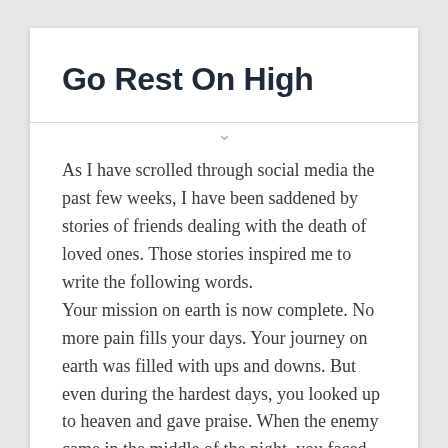Go Rest On High
As I have scrolled through social media the past few weeks, I have been saddened by stories of friends dealing with the death of loved ones. Those stories inspired me to write the following words.
Your mission on earth is now complete. No more pain fills your days. Your journey on earth was filled with ups and downs. But even during the hardest days, you looked up to heaven and gave praise. When the enemy came in the middle of the night, you faced him head on never taking a step back. You reminded the enemy